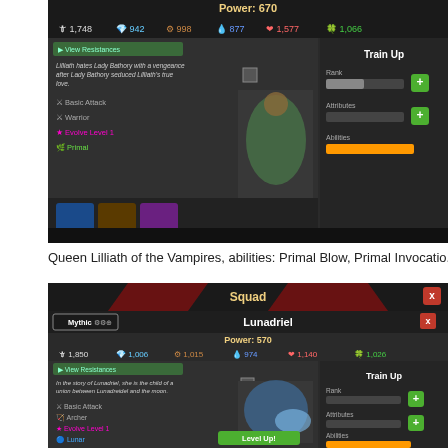[Figure (screenshot): Game screenshot showing Queen Lilliath character detail screen with stats (1,748 / 942 / 998 / 877 / 1,577 / 1,066), Train Up panel, Basic Attack, Warrior, Evolve Level 1, Primal labels, Level Up button, and item slots at the bottom.]
Queen Lilliath of the Vampires, abilities: Primal Blow, Primal Invocatio...
[Figure (screenshot): Game screenshot showing Squad panel with Lunadriel character (Mythic rarity), Power: 570, stats (1,850 / 1,006 / 1,015 / 974 / 1,140 / 1,026), Train Up panel, Basic Attack, Archer, Evolve Level 1, Lunar labels, Level Up button, and Abilities bar.]